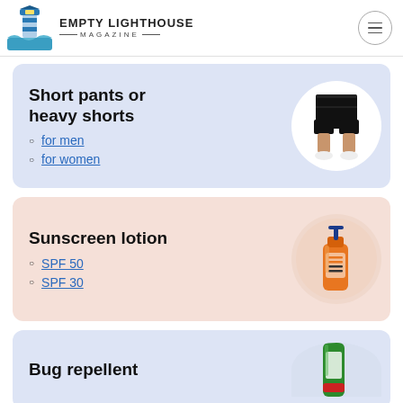EMPTY LIGHTHOUSE MAGAZINE
Short pants or heavy shorts
for men
for women
[Figure (photo): Person wearing black shorts, white sneakers]
Sunscreen lotion
SPF 50
SPF 30
[Figure (photo): Orange sunscreen lotion bottle with blue pump]
Bug repellent
[Figure (photo): Green bug repellent spray bottle]